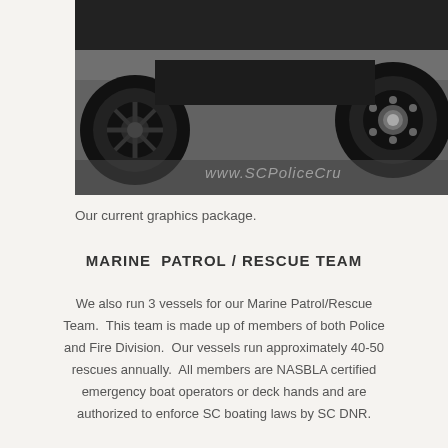[Figure (photo): Black and white photograph showing the wheels and lower body of a police vehicle on pavement, with watermark text 'www.SCPoliceCru' visible in the lower right area of the image.]
Our current graphics package.
MARINE PATROL / RESCUE TEAM
We also run 3 vessels for our Marine Patrol/Rescue Team.  This team is made up of members of both Police and Fire Division.  Our vessels run approximately 40-50 rescues annually.  All members are NASBLA certified emergency boat operators or deck hands and are authorized to enforce SC boating laws by SC DNR.